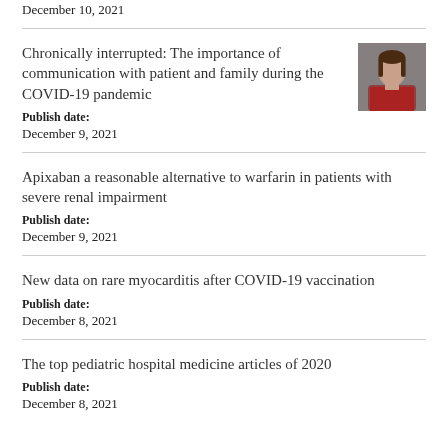December 10, 2021
Chronically interrupted: The importance of communication with patient and family during the COVID-19 pandemic
Publish date: December 9, 2021
[Figure (photo): Headshot photo of a woman with dark hair wearing a red jacket]
Apixaban a reasonable alternative to warfarin in patients with severe renal impairment
Publish date: December 9, 2021
New data on rare myocarditis after COVID-19 vaccination
Publish date: December 8, 2021
The top pediatric hospital medicine articles of 2020
Publish date: December 8, 2021